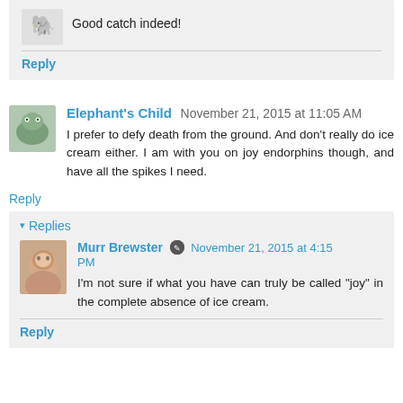Good catch indeed!
Reply
Elephant's Child  November 21, 2015 at 11:05 AM
I prefer to defy death from the ground. And don't really do ice cream either. I am with you on joy endorphins though, and have all the spikes I need.
Reply
Replies
Murr Brewster  November 21, 2015 at 4:15 PM
I'm not sure if what you have can truly be called "joy" in the complete absence of ice cream.
Reply